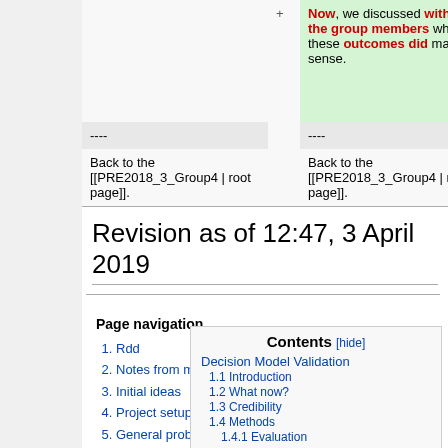| (old) | + | (new) |
| --- | --- | --- |
| ---- |  | ---- |
| Back to the [[PRE2018_3_Group4 | root page]]. |  | Back to the [[PRE2018_3_Group4 | root page]]. |
Revision as of 12:47, 3 April 2019
Page navigation
Contents [hide]
1. Rdd
2. Notes from meeting
3. Initial ideas
4. Project setup
5. General problem description
6. State of the Art
Decision Model Validation
1.1 Introduction
1.2 What now?
1.3 Credibility
1.4 Methods
1.4.1 Evaluation